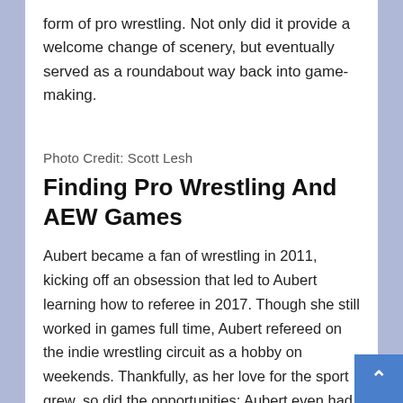form of pro wrestling. Not only did it provide a welcome change of scenery, but eventually served as a roundabout way back into game-making.
Photo Credit: Scott Lesh
Finding Pro Wrestling And AEW Games
Aubert became a fan of wrestling in 2011, kicking off an obsession that led to Aubert learning how to referee in 2017. Though she still worked in games full time, Aubert refereed on the indie wrestling circuit as a hobby on weekends. Thankfully, as her love for the sport grew, so did the opportunities; Aubert even had a brief stint in WWE as one of the referees for the 2018 Mae Young Classic, a women's wrestling tournament (she officiated the infamous bout in which Tessa Blanchard got the win)